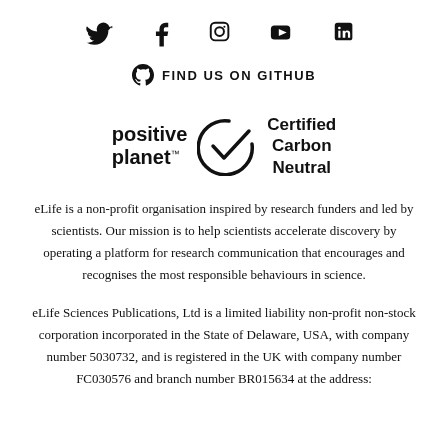[Figure (logo): Social media icons: Twitter, Facebook, Instagram, YouTube, LinkedIn]
[Figure (logo): GitHub octocat icon followed by text FIND US ON GITHUB]
[Figure (logo): Positive Planet logo and Certified Carbon Neutral checkmark badge]
eLife is a non-profit organisation inspired by research funders and led by scientists. Our mission is to help scientists accelerate discovery by operating a platform for research communication that encourages and recognises the most responsible behaviours in science.
eLife Sciences Publications, Ltd is a limited liability non-profit non-stock corporation incorporated in the State of Delaware, USA, with company number 5030732, and is registered in the UK with company number FC030576 and branch number BR015634 at the address: